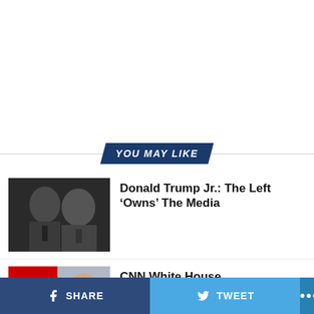YOU MAY LIKE
[Figure (photo): Two men in suits smiling, dark background]
Donald Trump Jr.: The Left ‘Owns’ The Media
[Figure (photo): Man smiling in front of CNN logo backdrop]
CNN White House Correspondent John Harwood Departs
SHARE   TWEET   ...